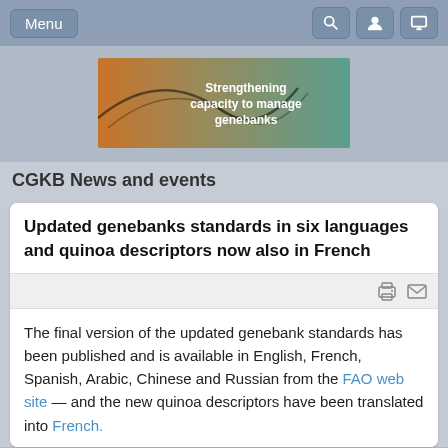Menu
[Figure (illustration): Banner image with text 'Strengthening capacity to manage genebanks' on an orange-to-teal gradient background]
CGKB News and events
Updated genebanks standards in six languages and quinoa descriptors now also in French
The final version of the updated genebank standards has been published and is available in English, French, Spanish, Arabic, Chinese and Russian from the FAO web site — and the new quinoa descriptors have been translated into French.